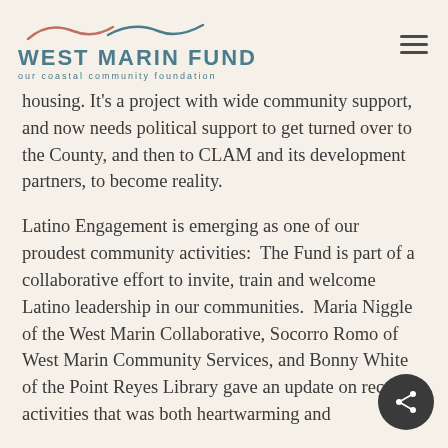West Marin Fund — our coastal community foundation
housing. It's a project with wide community support, and now needs political support to get turned over to the County, and then to CLAM and its development partners, to become reality.
Latino Engagement is emerging as one of our proudest community activities:  The Fund is part of a collaborative effort to invite, train and welcome Latino leadership in our communities.  Maria Niggle of the West Marin Collaborative, Socorro Romo of West Marin Community Services, and Bonny White of the Point Reyes Library gave an update on recent activities that was both heartwarming and